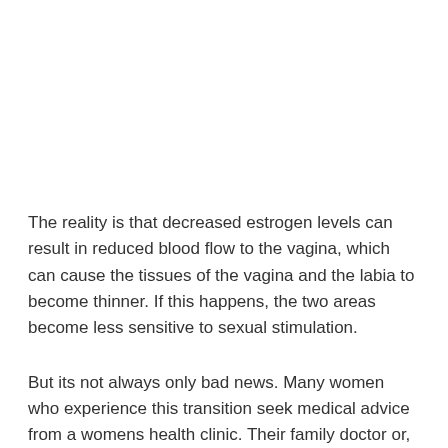The reality is that decreased estrogen levels can result in reduced blood flow to the vagina, which can cause the tissues of the vagina and the labia to become thinner. If this happens, the two areas become less sensitive to sexual stimulation.
But its not always only bad news. Many women who experience this transition seek medical advice from a womens health clinic. Their family doctor or, if needed, a gynecologist on how best to handle menopause, given their particular symptoms.